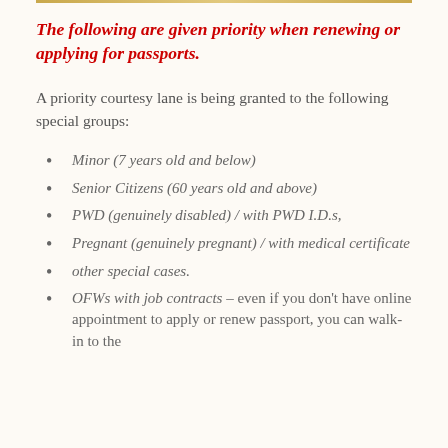The following are given priority when renewing or applying for passports.
A priority courtesy lane is being granted to the following special groups:
Minor (7 years old and below)
Senior Citizens (60 years old and above)
PWD (genuinely disabled) / with PWD I.D.s,
Pregnant (genuinely pregnant) / with medical certificate
other special cases.
OFWs with job contracts – even if you don't have online appointment to apply or renew passport, you can walk-in to the